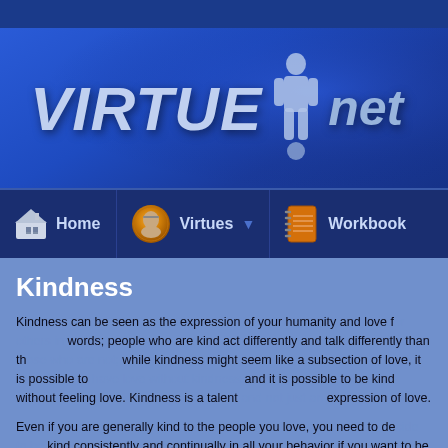[Figure (screenshot): Website header banner with 'VIRTUE net' logo in italic bold text on a dark blue gradient background, with a small standing person figure silhouette]
[Figure (screenshot): Navigation bar with Home icon, Virtues (with Benjamin Franklin coin icon and dropdown arrow), and Workbook (with orange notebook icon)]
Kindness
Kindness can be seen as the expression of your humanity and love for others in words; people who are kind act differently and talk differently than those who are not; while kindness might seem like a subsection of love, it is possible to have love without kindness and it is possible to be kind without feeling love. Kindness is a talent and not just an expression of love.
Even if you are generally kind to the people you love, you need to decide to be kind consistently and continually in all your behavior if you want to be truly kind. Nobody can be perfect in their love or kindness, but it is possible to consistently practice kindness in behavior.